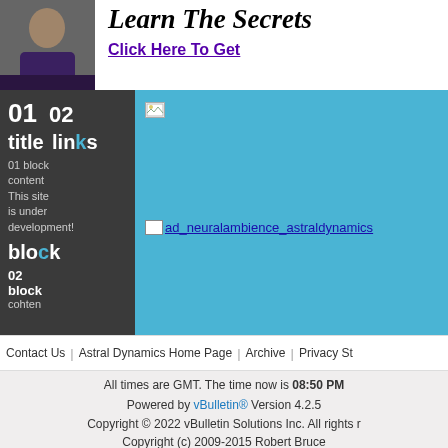[Figure (photo): Photo of a man in dark jacket, cropped head and shoulders]
Learn The Secrets
Click Here To Get
01 title
01 block content
This site is under development!
02 links block
02 block content
[Figure (screenshot): Blue background area with broken image placeholder and ad link: ad_neuralambience_astraldynamics]
Contact Us | Astral Dynamics Home Page | Archive | Privacy St
All times are GMT. The time now is 08:50 PM
Powered by vBulletin® Version 4.2.5
Copyright © 2022 vBulletin Solutions Inc. All rights r
Copyright (c) 2009-2015 Robert Bruce